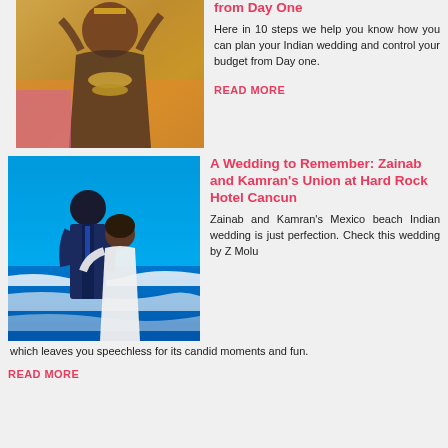[Figure (photo): Indian bride in traditional wedding attire with jewelry and garland]
from Day One
Here in 10 steps we help you know how you can plan your Indian wedding and control your budget from Day one.
READ MORE
[Figure (photo): Couple on beach at Hard Rock Hotel Cancun, groom in blue suit, bride in white dress]
A Wedding to Remember: Zainab and Kamran's Union at Hard Rock Hotel Cancun
Zainab and Kamran's Mexico beach Indian wedding is just perfection. Check this wedding by Z Molu which leaves you speechless for its candid moments and fun.
READ MORE